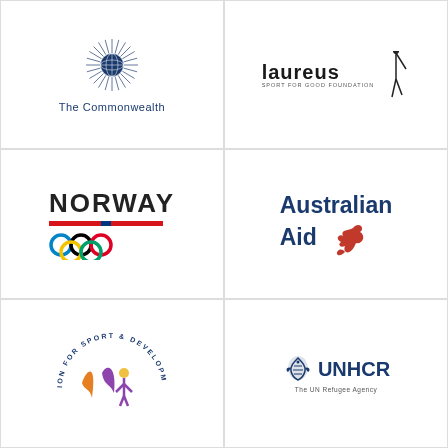[Figure (logo): The Commonwealth logo — circular globe/sunburst motif in dark blue, with text 'The Commonwealth' beneath]
[Figure (logo): Laureus Sport for Good Foundation logo — stylized text 'laureus' with 'SPORT FOR GOOD FOUNDATION' subtitle and athlete figure]
[Figure (logo): Norway Olympic logo — 'NORWAY' text with red/blue Norwegian flag bar and Olympic rings below]
[Figure (logo): Australian Aid logo — 'Australian Aid' text in dark blue bold with red kangaroo]
[Figure (logo): ION for Sport & Development logo — partial circular logo with orange and purple swoosh figures (bottom cropped)]
[Figure (logo): UNHCR The UN Refugee Agency logo — blue UNHCR emblem with text]